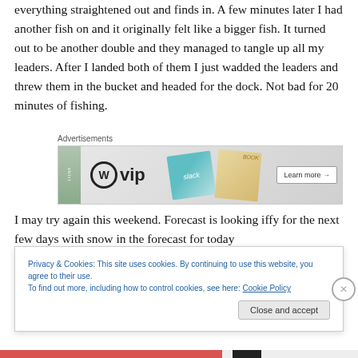everything straightened out and finds in. A few minutes later I had another fish on and it originally felt like a bigger fish. It turned out to be another double and they managed to tangle up all my leaders. After I landed both of them I just wadded the leaders and threw them in the bucket and headed for the dock. Not bad for 20 minutes of fishing.
[Figure (other): WordPress VIP advertisement banner with slack and facebook book tiles and Learn more button]
I may try again this weekend. Forecast is looking iffy for the next few days with snow in the forecast for today
Privacy & Cookies: This site uses cookies. By continuing to use this website, you agree to their use.
To find out more, including how to control cookies, see here: Cookie Policy
Close and accept